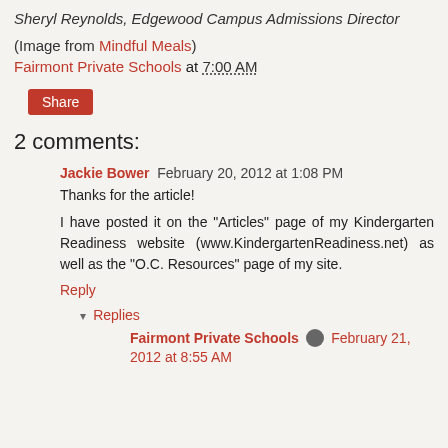Sheryl Reynolds, Edgewood Campus Admissions Director
(Image from Mindful Meals)
Fairmont Private Schools at 7:00 AM
Share
2 comments:
Jackie Bower February 20, 2012 at 1:08 PM
Thanks for the article!
I have posted it on the "Articles" page of my Kindergarten Readiness website (www.KindergartenReadiness.net) as well as the "O.C. Resources" page of my site.
Reply
Replies
Fairmont Private Schools February 21, 2012 at 8:55 AM